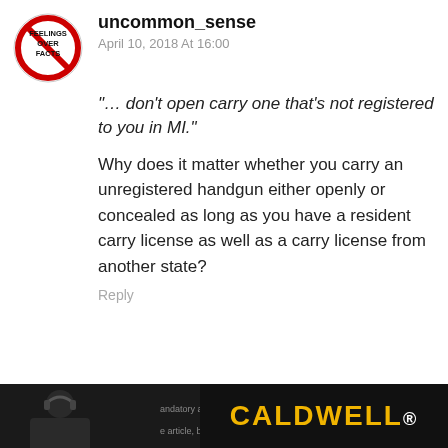[Figure (logo): Avatar icon: red circle with slash over text reading FEELINGS OVER FACTS]
uncommon_sense
April 10, 2018 At 16:00
“… don’t open carry one that’s not registered to you in MI.”
Why does it matter whether you carry an unregistered handgun either openly or concealed as long as you have a resident carry license as well as a carry license from another state?
Reply
[Figure (illustration): Generic user avatar silhouette on grey background]
Stereodude
April 10, 2018 At 16:57
Maybe I’m wrong. The Michigan OC guide says that it needs to be registered. They’re andatory as e article, but
[Figure (photo): Caldwell advertisement banner showing a person with headphones and the CALDWELL logo in yellow on dark background]